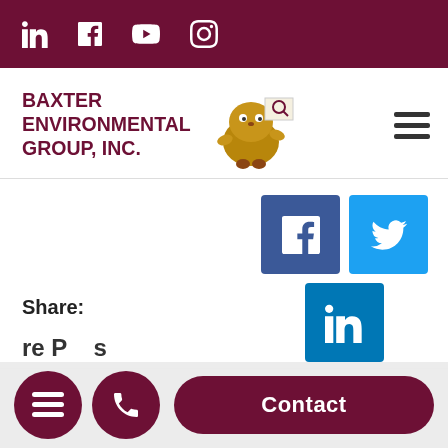Social media icons: LinkedIn, Facebook, YouTube, Instagram
[Figure (logo): Baxter Environmental Group, Inc. logo with mascot character]
Share:
[Figure (illustration): Social share buttons: Facebook (dark blue), Twitter (light blue), LinkedIn (blue)]
Navigation: hamburger menu, phone, Contact button; More Posts text